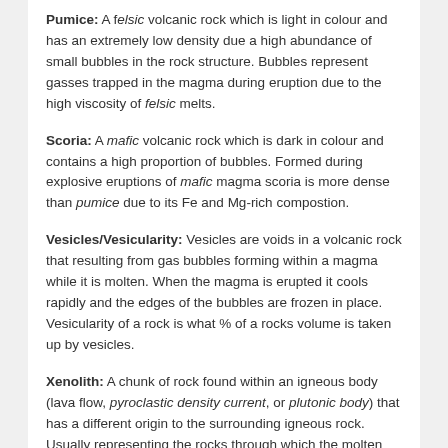Pumice: A felsic volcanic rock which is light in colour and has an extremely low density due a high abundance of small bubbles in the rock structure. Bubbles represent gasses trapped in the magma during eruption due to the high viscosity of felsic melts.
Scoria: A mafic volcanic rock which is dark in colour and contains a high proportion of bubbles. Formed during explosive eruptions of mafic magma scoria is more dense than pumice due to its Fe and Mg-rich compostion.
Vesicles/Vesicularity: Vesicles are voids in a volcanic rock that resulting from gas bubbles forming within a magma while it is molten. When the magma is erupted it cools rapidly and the edges of the bubbles are frozen in place. Vesicularity of a rock is what % of a rocks volume is taken up by vesicles.
Xenolith: A chunk of rock found within an igneous body (lava flow, pyroclastic density current, or plutonic body) that has a different origin to the surrounding igneous rock. Usually representing the rocks through which the molten